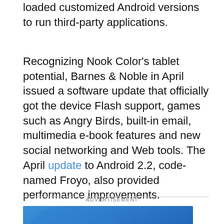loaded customized Android versions to run third-party applications.
Recognizing Nook Color's tablet potential, Barnes & Noble in April issued a software update that officially got the device Flash support, games such as Angry Birds, built-in email, multimedia e-book features and new social networking and Web tools. The April update to Android 2.2, code-named Froyo, also provided performance improvements.
ADVERTISEMENT
[Figure (logo): Best Buy advertisement banner with blue gradient background and white bold Best Buy logo text with yellow accent bar]